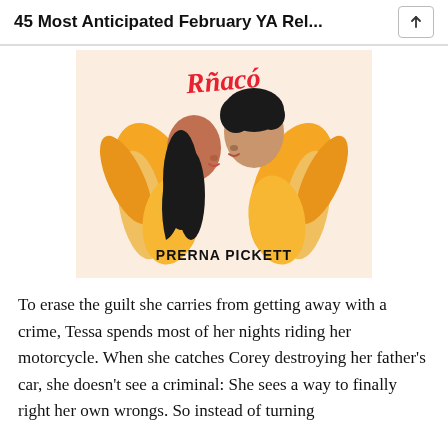45 Most Anticipated February YA Rel...
[Figure (illustration): Book cover illustration showing two young people facing each other romantically, surrounded by orange flame-like foliage, with red script text above and the author name 'PRERNA PICKETT' in bold black text at the bottom.]
To erase the guilt she carries from getting away with a crime, Tessa spends most of her nights riding her motorcycle. When she catches Corey destroying her father's car, she doesn't see a criminal: She sees a way to finally right her own wrongs. So instead of turning